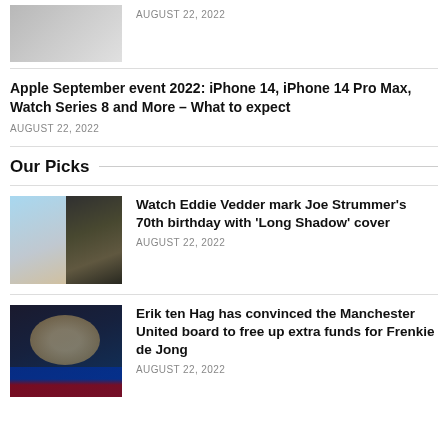[Figure (photo): Partial thumbnail of a person/figure, cropped at top]
AUGUST 22, 2022
Apple September event 2022: iPhone 14, iPhone 14 Pro Max, Watch Series 8 and More – What to expect
AUGUST 22, 2022
Our Picks
[Figure (photo): Two concert photos side by side: a singer in white on the left, a guitarist with dreadlocks on the right]
Watch Eddie Vedder mark Joe Strummer's 70th birthday with 'Long Shadow' cover
AUGUST 22, 2022
[Figure (photo): Soccer player in Barcelona kit with blond hair against dark background]
Erik ten Hag has convinced the Manchester United board to free up extra funds for Frenkie de Jong
AUGUST 22, 2022